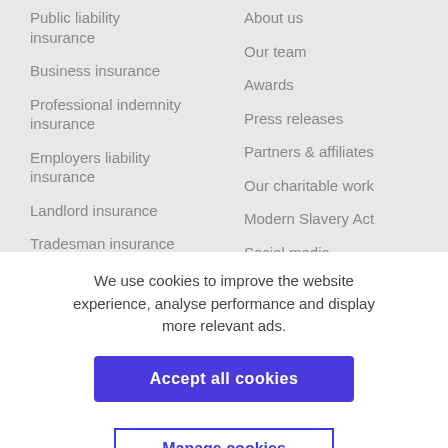Public liability insurance
Business insurance
Professional indemnity insurance
Employers liability insurance
Landlord insurance
Tradesman insurance
Charity insurance
About us
Our team
Awards
Press releases
Partners & affiliates
Our charitable work
Modern Slavery Act
Social media
We use cookies to improve the website experience, analyse performance and display more relevant ads.
Accept all cookies
Manage cookies